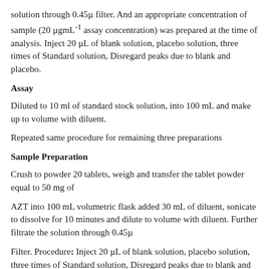solution through 0.45µ filter. And an appropriate concentration of sample (20 µgmL⁻¹ assay concentration) was prepared at the time of analysis. Inject 20 µL of blank solution, placebo solution, three times of Standard solution, Disregard peaks due to blank and placebo.
Assay
Diluted to 10 ml of standard stock solution, into 100 mL and make up to volume with diluent.
Repeated same procedure for remaining three preparations
Sample Preparation
Crush to powder 20 tablets, weigh and transfer the tablet powder equal to 50 mg of
AZT into 100 mL volumetric flask added 30 mL of diluent, sonicate to dissolve for 10 minutes and dilute to volume with diluent. Further filtrate the solution through 0.45µ
Filter. Procedure: Inject 20 µL of blank solution, placebo solution, three times of Standard solution, Disregard peaks due to blank and placebo.